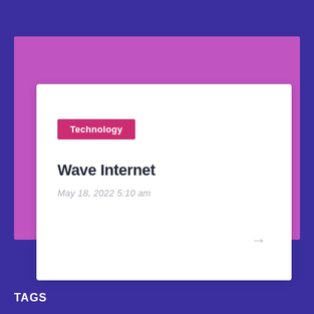[Figure (screenshot): Blog post card UI with purple/pink background, white card, Technology category badge, article title 'Wave Internet', date 'May 18, 2022 5:10 am', and arrow navigation element]
Technology
Wave Internet
May 18, 2022 5:10 am
→
TAGS